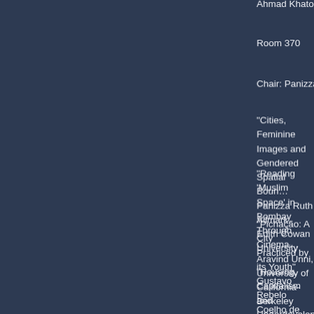Ahmad Khatoon Abadi, Isfahan University of Technology
Room 370
Chair: Panizza Ruth Allmark, Edith Cowan University
“Cities, Feminine Images and Gendered Spatial Boundaries”
Panizza Ruth Allmark, Edith Cowan University
“Reading ‘Muslim Space’ in Bombay Through Cinema”
Aravind Unni, University of California-Berkeley
“Pichação: A City Practiced by its Youth”
Gustavo Rebelo Coelho de Oliveira, UERJ – ProPEd
“Housing, Capitalism and Underdevelopment in Sub-Saharan Africa”
Steven Nabieu Rogers, University of Texas, Arlington
Session 8
12:00-12:50
Poster Session
Room 370
“Evaluation of New Additional Storeys to Historical Buildings in Istanbul in the Context of Sustainable Urban Development”
Mustafa Korumaz, Selcuk University & Middle East Technical University
“Evaluation of Courtyard Space and Courtyard-lifestyle”